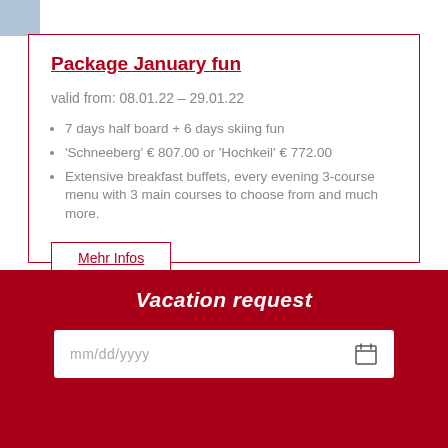[Figure (photo): Small thumbnail image in top-left corner, partially visible, appears to be a winter/ski scene]
Package January fun
valid from: 08.01.22 – 29.01.22
7 days half board + 6 days skiing fun
'Schneeberg' € 807.00 or 'Hochkeil' € 772.00
Extensive breakfast buffets, every evening 3-course menu with 3 main courses to choose from and much more.
Mehr Infos
Vacation request
mm/dd/yyyy